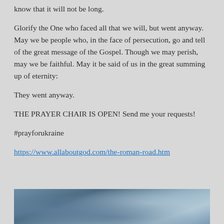know that it will not be long.
Glorify the One who faced all that we will, but went anyway. May we be people who, in the face of persecution, go and tell of the great message of the Gospel. Though we may perish, may we be faithful. May it be said of us in the great summing up of eternity:
They went anyway.
THE PRAYER CHAIR IS OPEN! Send me your requests!
#prayforukraine
https://www.allaboutgod.com/the-roman-road.htm
[Figure (photo): Partial view of a blue-toned photograph, appears to show a figure or person among flowers or natural elements]